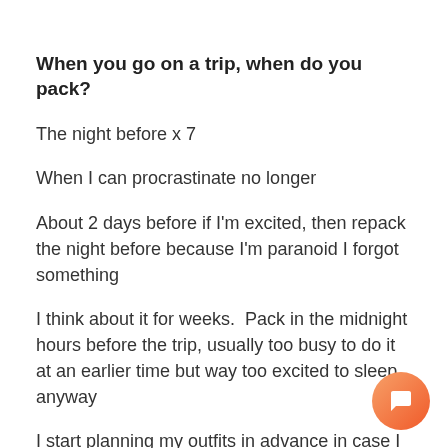When you go on a trip, when do you pack?
The night before x 7
When I can procrastinate no longer
About 2 days before if I'm excited, then repack the night before because I'm paranoid I forgot something
I think about it for weeks.  Pack in the midnight hours before the trip, usually too busy to do it at an earlier time but way too excited to sleep anyway
I start planning my outfits in advance in case I